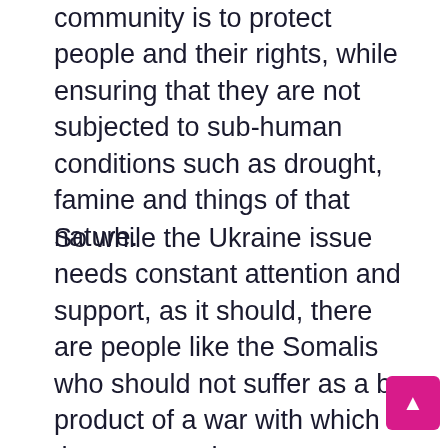community is to protect people and their rights, while ensuring that they are not subjected to sub-human conditions such as drought, famine and things of that nature.
So while the Ukraine issue needs constant attention and support, as it should, there are people like the Somalis who should not suffer as a by-product of a war with which they are not. have no connection. Although this war was an unforeseen circumstance that the UN could not have foreseen when it made its commitments to Somalia, it does not exempt them from this commitment; especially when faced with such terrible conditions. They made that $1.5 billion commitment to the people, so now it's up to them to honour it; because if they don't honour...